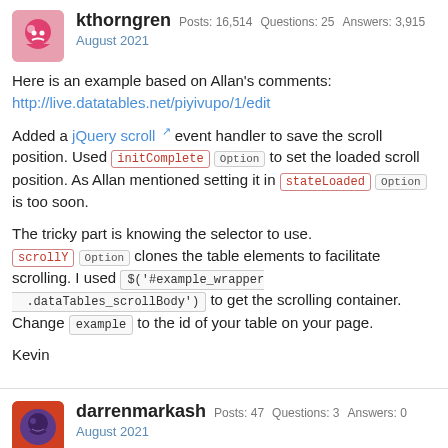kthorngren  Posts: 16,514  Questions: 25  Answers: 3,915  August 2021
Here is an example based on Allan's comments:
http://live.datatables.net/piyivupo/1/edit
Added a jQuery scroll event handler to save the scroll position. Used initComplete Option to set the loaded scroll position. As Allan mentioned setting it in stateLoaded Option is too soon.
The tricky part is knowing the selector to use. scrollY Option clones the table elements to facilitate scrolling. I used $('#example_wrapper .dataTables_scrollBody') to get the scrolling container. Change example to the id of your table on your page.
Kevin
darrenmarkash  Posts: 47  Questions: 3  Answers: 0  August 2021
@kthorngren Thank you so much!!!!! It works perfectly! I can see the light at the end of the tunnel for my project! :-)